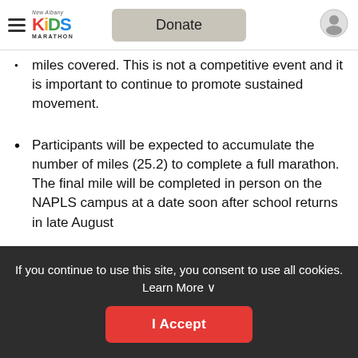New Albany Kids Marathon — Donate
miles covered. This is not a competitive event and it is important to continue to promote sustained movement.
Participants will be expected to accumulate the number of miles (25.2) to complete a full marathon. The final mile will be completed in person on the NAPLS campus at a date soon after school returns in late August
ACTIVITY LOG
If you continue to use this site, you consent to use all cookies. Learn More